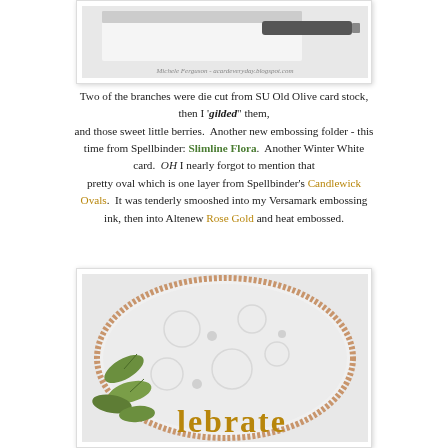[Figure (photo): Top portion of a crafting photo showing cardstock and a marker/pen, with a watermark reading 'Michele Ferguson - acardeveryday.blogspot.com']
Two of the branches were die cut from SU Old Olive card stock, then I 'gilded" them, and those sweet little berries.  Another new embossing folder - this time from Spellbinder: Slimline Flora.  Another Winter White card.  OH I nearly forgot to mention that pretty oval which is one layer from Spellbinder's Candlewick Ovals.  It was tenderly smooshed into my Versamark embossing ink, then into Altenew Rose Gold and heat embossed.
[Figure (photo): Close-up photo of a handmade card featuring an embossed oval with a rose gold glittery border, green die-cut leaves, and partial gold word 'celebrate' visible at the bottom]